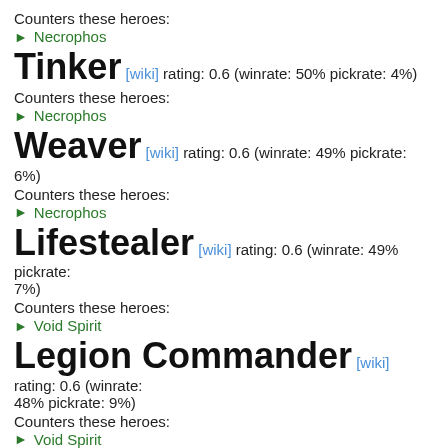Counters these heroes:
Necrophos
Tinker [wiki] rating: 0.6 (winrate: 50% pickrate: 4%)
Counters these heroes:
Necrophos
Weaver [wiki] rating: 0.6 (winrate: 49% pickrate: 6%)
Counters these heroes:
Necrophos
Lifestealer [wiki] rating: 0.6 (winrate: 49% pickrate: 7%)
Counters these heroes:
Void Spirit
Legion Commander [wiki] rating: 0.6 (winrate: 48% pickrate: 9%)
Counters these heroes:
Void Spirit
Juggernaut [wiki] rating: 0.4 (winrate: 54% pickrate: